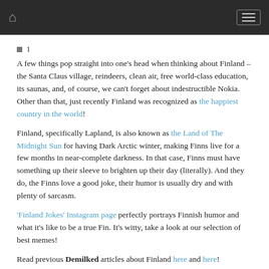Home | Menu
1
A few things pop straight into one's head when thinking about Finland – the Santa Claus village, reindeers, clean air, free world-class education, its saunas, and, of course, we can't forget about indestructible Nokia. Other than that, just recently Finland was recognized as the happiest country in the world!
Finland, specifically Lapland, is also known as the Land of The Midnight Sun for having Dark Arctic winter, making Finns live for a few months in near-complete darkness. In that case, Finns must have something up their sleeve to brighten up their day (literally). And they do, the Finns love a good joke, their humor is usually dry and with plenty of sarcasm.
'Finland Jokes' Instagram page perfectly portrays Finnish humor and what it's like to be a true Fin. It's witty, take a look at our selection of best memes!
Read previous Demilked articles about Finland here and here!
More info: here